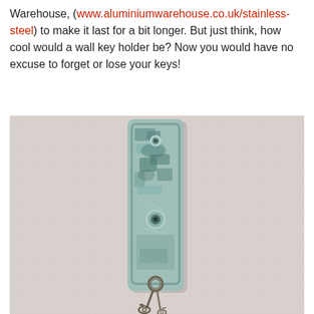Warehouse, (www.aluminiumwarehouse.co.uk/stainless-steel) to make it last for a bit longer. But just think, how cool would a wall key holder be? Now you would have no excuse to forget or lose your keys!
[Figure (photo): Close-up photo of a weathered, pale turquoise/blue metal wall key holder plate mounted on a white textured wall, with old keys hanging at the bottom.]